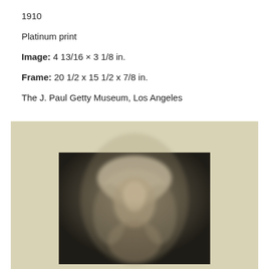1910
Platinum print
Image: 4 13/16 × 3 1/8 in.
Frame: 20 1/2 x 15 1/2 x 7/8 in.
The J. Paul Getty Museum, Los Angeles
[Figure (photo): A soft-focus platinum print portrait photograph of a woman wearing a light-colored head covering/turban, mounted on a cream/tan mat board. The image is sepia-toned and has a dreamy, impressionistic quality.]